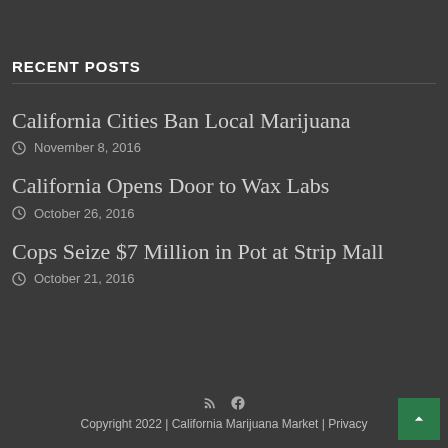RECENT POSTS
California Cities Ban Local Marijuana
November 8, 2016
California Opens Door to Wax Labs
October 26, 2016
Cops Seize $7 Million in Pot at Strip Mall
October 21, 2016
Copyright 2022 | California Marijuana Market | Privacy